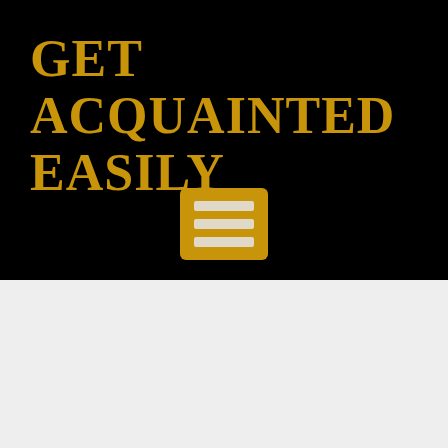GET ACQUAINTED EASILY
[Figure (illustration): Gold/amber colored hamburger menu icon with three horizontal lines on a rounded rectangle background, centered on black background]
[Figure (illustration): Broken image placeholder icon]
Free sex dating in dearsburg mi 48350